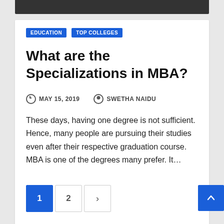[Figure (photo): Top portion of a photo showing a person in graduation attire, cropped at top of page]
EDUCATION
TOP COLLEGES
What are the Specializations in MBA?
MAY 15, 2019   SWETHA NAIDU
These days, having one degree is not sufficient. Hence, many people are pursuing their studies even after their respective graduation course. MBA is one of the degrees many prefer. It…